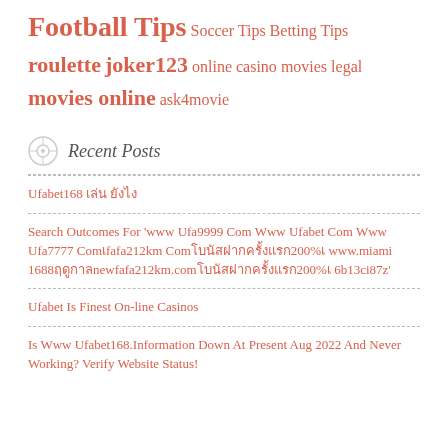Football Tips  Soccer Tips  Betting Tips  roulette  joker123  online casino  movies legal  movies online  ask4movie
Recent Posts
Ufabet168 เล่น ยังไง
Search Outcomes For 'www Ufa9999 Com Www Ufabet Com Www Ufa7777 Comเfafa212km Comโบนัสฝากครั้งแรก200%เ www.miami 1688ฤดูกาลnewfafa212km.comโบนัสฝากครั้งแรก200%เ 6b13ci87z'
Ufabet Is Finest On-line Casinos
Is Www Ufabet168.Information Down At Present Aug 2022 And Never Working? Verify Website Status!